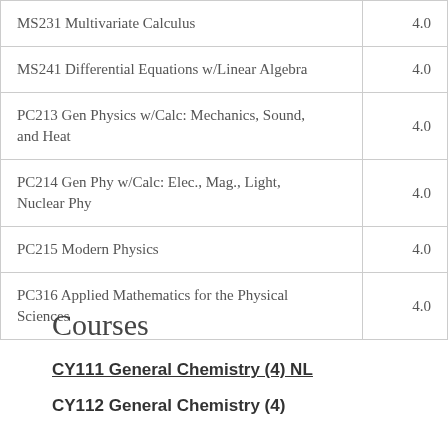| Course | Credits |
| --- | --- |
| MS231 Multivariate Calculus | 4.0 |
| MS241 Differential Equations w/Linear Algebra | 4.0 |
| PC213 Gen Physics w/Calc: Mechanics, Sound, and Heat | 4.0 |
| PC214 Gen Phy w/Calc: Elec., Mag., Light, Nuclear Phy | 4.0 |
| PC215 Modern Physics | 4.0 |
| PC316 Applied Mathematics for the Physical Sciences | 4.0 |
Courses
CY111 General Chemistry (4) NL
CY112 General Chemistry (4)